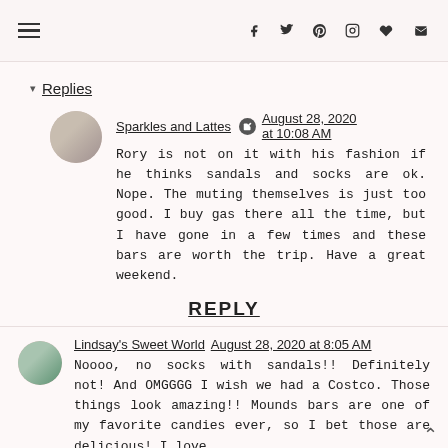Navigation and social icons header
▾ Replies
Sparkles and Lattes August 28, 2020 at 10:08 AM
Rory is not on it with his fashion if he thinks sandals and socks are ok. Nope. The muting themselves is just too good. I buy gas there all the time, but I have gone in a few times and these bars are worth the trip. Have a great weekend.
REPLY
Lindsay's Sweet World August 28, 2020 at 8:05 AM
Noooo, no socks with sandals!! Definitely not! And OMGGGG I wish we had a Costco. Those things look amazing!! Mounds bars are one of my favorite candies ever, so I bet those are delicious! I love